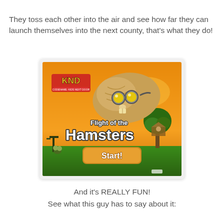They toss each other into the air and see how far they can launch themselves into the next county, that's what they do!
[Figure (screenshot): Screenshot of the game 'Flight of the Hamsters' showing a hamster with goggles flying over a landscape with a 'Start!' button and KND logo.]
And it's REALLY FUN!
See what this guy has to say about it: